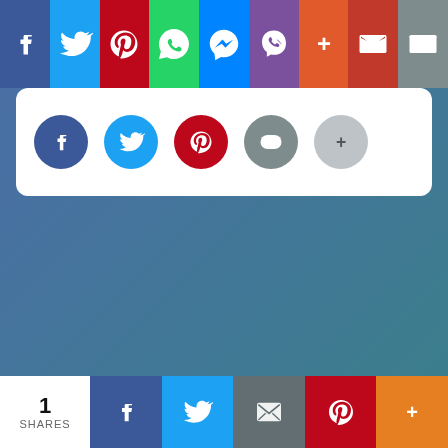[Figure (screenshot): Top social share bar with Facebook (blue), Twitter (light blue), Pinterest (red), WhatsApp (green), Messenger (blue), Viber (purple), Google+ (red), Gmail (red), Email (grey) buttons]
[Figure (screenshot): Row of circular social share buttons: Facebook (blue), Twitter (light blue), Pinterest (red), Email (grey), More (light grey)]
Related Posts
[Figure (photo): Placeholder image (light grey rectangle)]
Happy Krishna Janmashtami Wishes Images
1 SHARES | Facebook | Twitter | Email | Pinterest | More